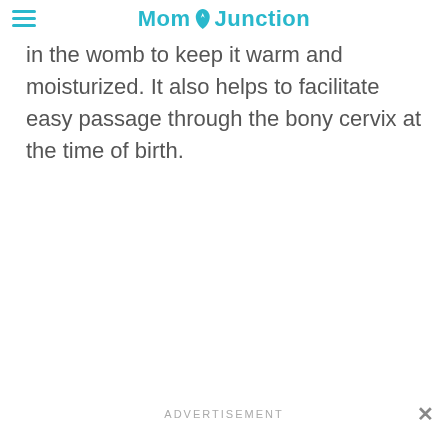MomJunction
in the womb to keep it warm and moisturized. It also helps to facilitate easy passage through the bony cervix at the time of birth.
ADVERTISEMENT